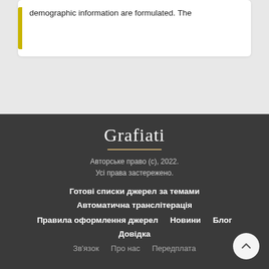demographic information are formulated. The
Grafiati
Авторське право (c), 2022.
Усі права застережено.
Готові списки джерел за темами
Автоматична транслітерація
Правила оформлення джерел   Новини   Блог
Довідка
Зв'язок   Про нас   Передплата